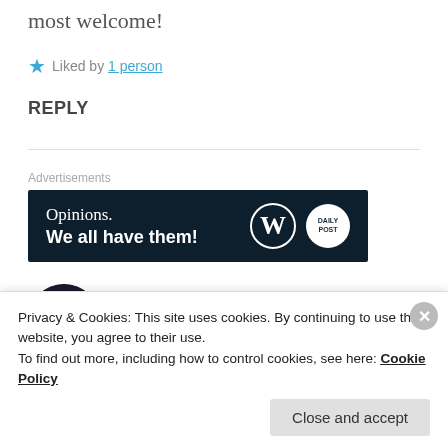most welcome!
★ Liked by 1 person
REPLY
[Figure (screenshot): Advertisement banner with dark navy background showing 'Opinions. We all have them!' text with WordPress and brand logos on the right.]
AYUSH
2 Jun 2019 at 2:49 pm
Privacy & Cookies: This site uses cookies. By continuing to use this website, you agree to their use.
To find out more, including how to control cookies, see here: Cookie Policy